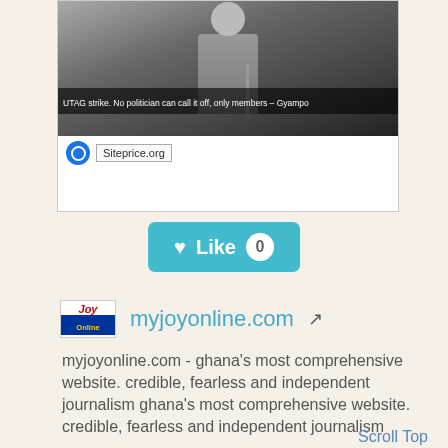[Figure (screenshot): Video thumbnail showing a man speaking at a microphone with caption 'UTAG strike. No politician can call it off, only members – Gyampo', with siteprice.org logo and label below.]
[Figure (screenshot): Teal 'Like 0' button with heart icon and circular badge showing zero.]
myjoyonline.com ↗
myjoyonline.com - ghana's most comprehensive website. credible, fearless and independent journalism ghana's most comprehensive website. credible, fearless and independent journalism
Scroll Top
Semrush Rank: 74,062
Facebook ♥ 1,24,000
Website Worth: $ 16,800
Categories: News/Newspapers, Recreation/Travel,
News/Directories, General News, News and Media